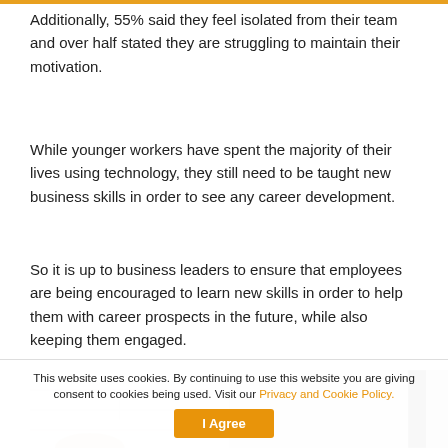Additionally, 55% said they feel isolated from their team and over half stated they are struggling to maintain their motivation.
While younger workers have spent the majority of their lives using technology, they still need to be taught new business skills in order to see any career development.
So it is up to business leaders to ensure that employees are being encouraged to learn new skills in order to help them with career prospects in the future, while also keeping them engaged.
[Figure (photo): Partial photograph of an interior space with white brick wall and dark vertical element, partially obscured at bottom of page]
This website uses cookies. By continuing to use this website you are giving consent to cookies being used. Visit our Privacy and Cookie Policy. I Agree